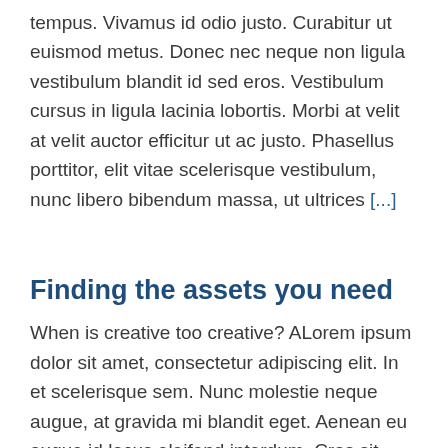tempus. Vivamus id odio justo. Curabitur ut euismod metus. Donec nec neque non ligula vestibulum blandit id sed eros. Vestibulum cursus in ligula lacinia lobortis. Morbi at velit at velit auctor efficitur ut ac justo. Phasellus porttitor, elit vitae scelerisque vestibulum, nunc libero bibendum massa, ut ultrices [...]
Finding the assets you need
When is creative too creative? ALorem ipsum dolor sit amet, consectetur adipiscing elit. In et scelerisque sem. Nunc molestie neque augue, at gravida mi blandit eget. Aenean eu augue id lacus eleifend interdum. Cras sit amet metus sit amet velit lacinia ullamcorper. Nam facilisis a orci quis tempus. Vivamus id odio justo. Curabitur ut